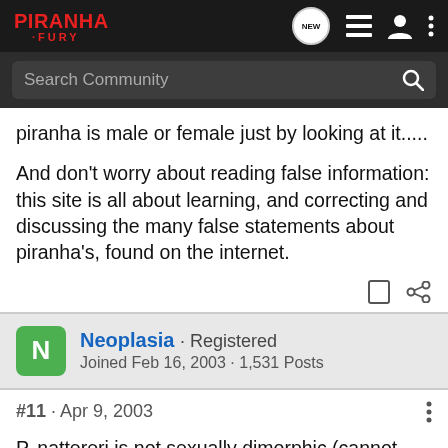Piranha Fury
piranha is male or female just by looking at it.....
And don't worry about reading false information: this site is all about learning, and correcting and discussing the many false statements about piranha's, found on the internet.
Neoplasia · Registered
Joined Feb 16, 2003 · 1,531 Posts
#11 · Apr 9, 2003
P. nattereri is not sexually dimorphic (cannot visually tell), nor can you tell by agression at any age. One being more or less